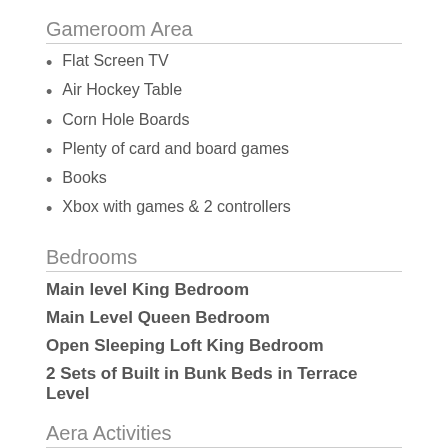Gameroom Area
Flat Screen TV
Air Hockey Table
Corn Hole Boards
Plenty of card and board games
Books
Xbox with games & 2 controllers
Bedrooms
Main level King Bedroom
Main Level Queen Bedroom
Open Sleeping Loft King Bedroom
2 Sets of Built in Bunk Beds in Terrace Level
Aera Activities